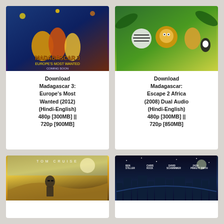[Figure (photo): Movie poster for Madagascar 3: Europe's Most Wanted 3D - animated characters including lion, zebra, penguin against blue circus background]
Download Madagascar 3: Europe's Most Wanted (2012) (Hindi-English) 480p [300MB] || 720p [900MB]
[Figure (photo): Movie poster for Madagascar: Escape 2 Africa - animated characters zebra, lion, giraffe, hippo, penguin against green jungle background]
Download Madagascar: Escape 2 Africa (2008) Dual Audio (Hindi-English) 480p [300MB] || 720p [850MB]
[Figure (photo): Tom Cruise movie poster - man in sunglasses against desert/golden sky background with text TOM CRUISE]
[Figure (photo): Animated movie poster with cast names: Ben Stiller, Chris Rock, David Schwimmer, Jada Pinkett Smith - night cityscape background]